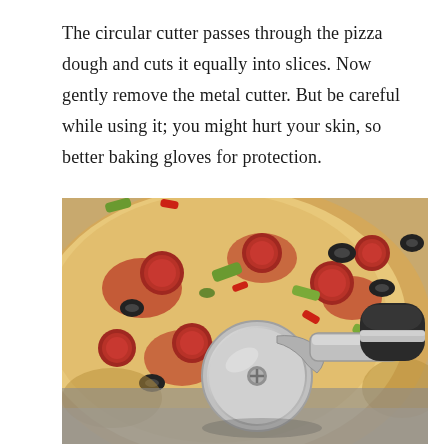The circular cutter passes through the pizza dough and cuts it equally into slices. Now gently remove the metal cutter. But be careful while using it; you might hurt your skin, so better baking gloves for protection.
[Figure (photo): A close-up photo of a pepperoni pizza with olives, green peppers, and red peppers, with a stainless steel circular pizza cutter (wheel cutter) resting on top of the pizza.]